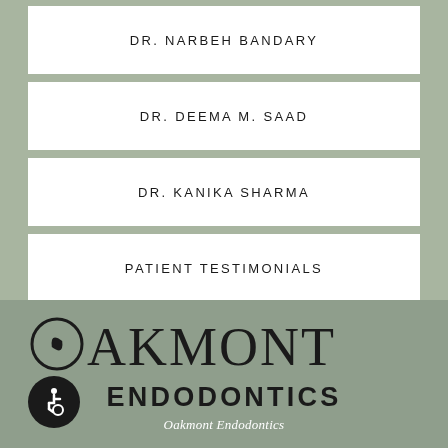DR. NARBEH BANDARY
DR. DEEMA M. SAAD
DR. KANIKA SHARMA
PATIENT TESTIMONIALS
[Figure (logo): Oakmont Endodontics logo with stylized O containing a leaf, followed by AKMONT in large serif font, and ENDODONTICS in bold sans-serif below, on a sage green background. Wheelchair accessibility icon in bottom left.]
Oakmont Endodontics